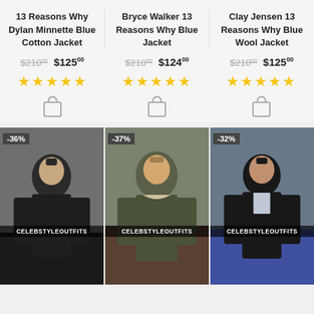13 Reasons Why Dylan Minnette Blue Cotton Jacket
Bryce Walker 13 Reasons Why Blue Jacket
Clay Jensen 13 Reasons Why Blue Wool Jacket
$210.00 $125.00 — -36%
$210.00 $124.00 — -37%
$210.00 $125.00 — -32%
[Figure (photo): Three product cards for TV show jackets from 13 Reasons Why, each showing a discount badge, old and new price, 5-star rating, shopping cart icon, and a photo of an actor wearing the jacket with CELEBSTYLEOUTFITS watermark.]